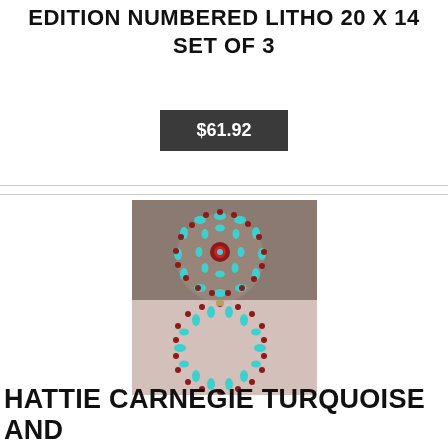EDITION NUMBERED LITHO 20 X 14 SET OF 3
$61.92
[Figure (photo): Photo of Hattie Carnegie turquoise and red/garnet beaded jewelry set displayed on a light pink/white jewelry holder, showing a circular brooch and a large hoop bracelet with turquoise oval beads and dark red accent beads.]
HATTIE CARNEGIE TURQUOISE AND